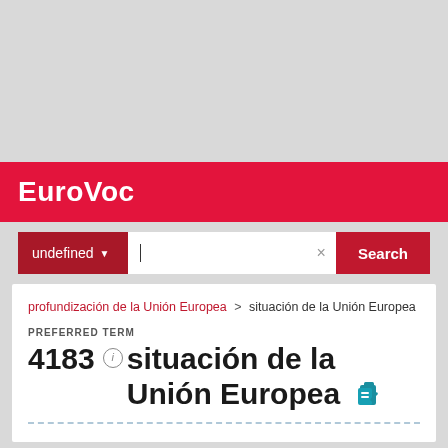EuroVoc
undefined ▾ | × Search
profundización de la Unión Europea > situación de la Unión Europea
PREFERRED TERM
4183 ⓘ situación de la Unión Europea 📋